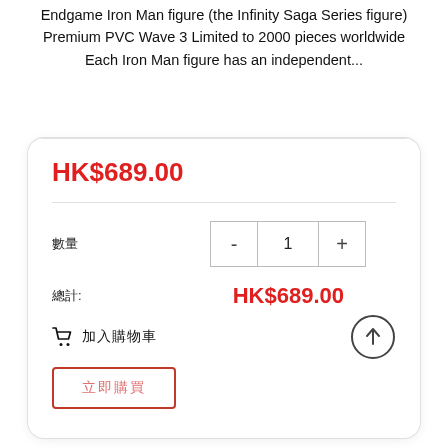Endgame Iron Man figure (the Infinity Saga Series figure) Premium PVC Wave 3 Limited to 2000 pieces worldwide Each Iron Man figure has an independent...
HK$689.00
數量  -  1  +
總計: HK$689.00
加入購物車
立即購買